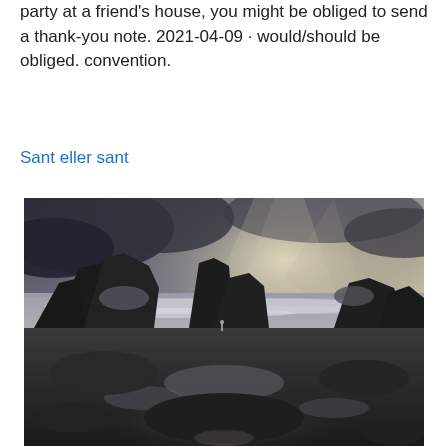party at a friend's house, you might be obliged to send a thank-you note. 2021-04-09 · would/should be obliged. convention.
Sant eller sant
[Figure (photo): A dramatic black and white coastal seascape photograph showing rocky formations, crashing waves, stormy clouds with rays of light breaking through, and a wide beach with tide pools in the foreground.]